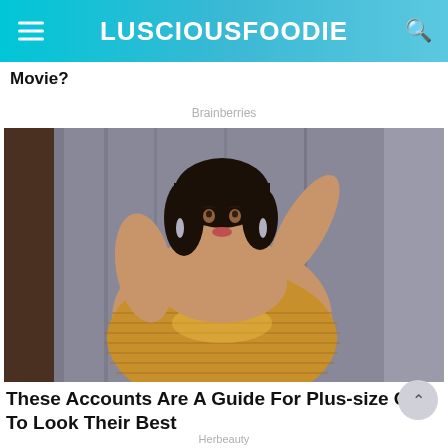LUSCIOUSFOODIE
Movie?
Brainberries
[Figure (photo): A plus-size woman wearing a gold/bronze strapless ribbed dress, posing with one hand raised, standing in front of grey curtains.]
These Accounts Are A Guide For Plus-size Girls To Look Their Best
Herbeauty